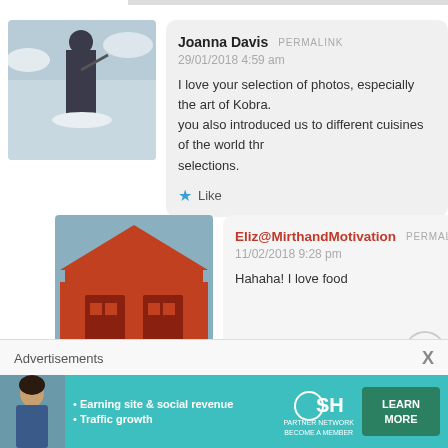[Figure (photo): Avatar of Joanna Davis - person in winter mountain scene with snow]
Joanna Davis  PERMALINK
29/01/2018 4:59 am
I love your selection of photos, especially the art of Kobra. you also introduced us to different cuisines of the world thr selections.
★ Like
[Figure (photo): Avatar of Eliz@MirthandMotivation - red Japanese temple gate]
Eliz@MirthandMotivation  PERMALINK
11/02/2018 9:28 pm
Hahaha! I love food
Advertisements  X
[Figure (infographic): SHE Partner Network advertisement banner - Earning site & social revenue, Traffic growth, LEARN MORE button]